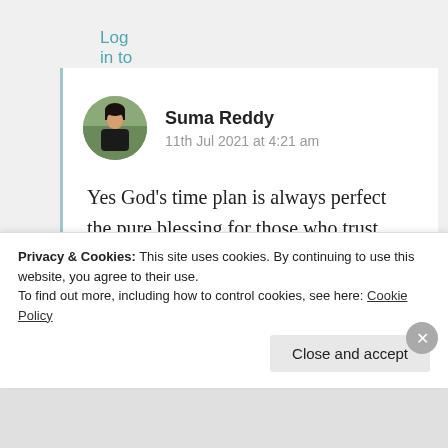Log in to Reply
Suma Reddy
11th Jul 2021 at 4:21 am
Yes God’s time plan is always perfect the pure blessing for those who trust him with heartfelt prayers. God blesses dear. Thanks for your lovely
Privacy & Cookies: This site uses cookies. By continuing to use this website, you agree to their use.
To find out more, including how to control cookies, see here: Cookie Policy
Close and accept